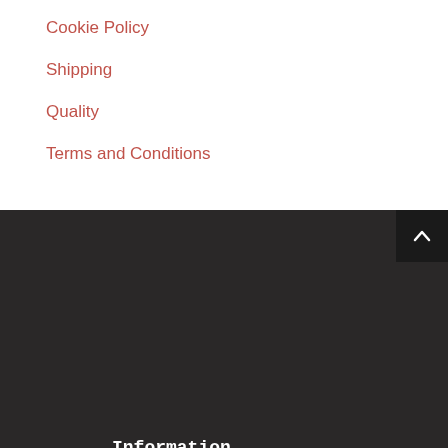Cookie Policy
Shipping
Quality
Terms and Conditions
Information
About APC Pure
Returns Policy
Cookie Policy